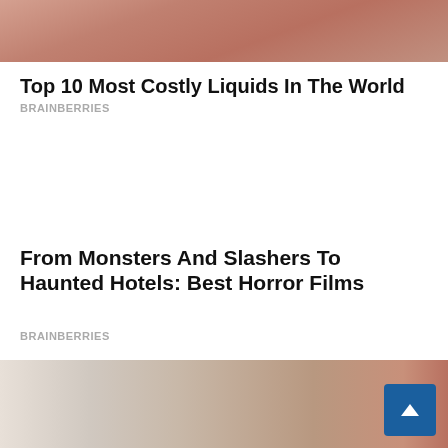[Figure (photo): Cropped photo showing skin tones, top portion of an article image about costly liquids]
Top 10 Most Costly Liquids In The World
BRAINBERRIES
From Monsters And Slashers To Haunted Hotels: Best Horror Films
BRAINBERRIES
[Figure (photo): Cropped photo at bottom showing classical artwork or illustration with figures, partially visible scroll-to-top button in blue]